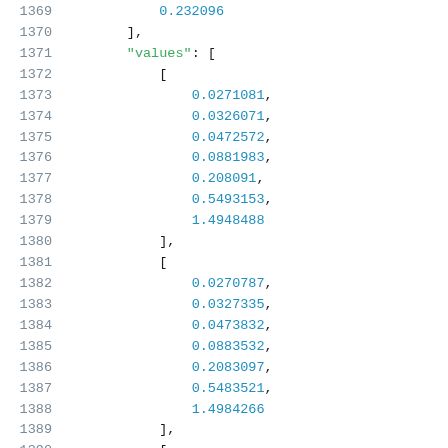Code listing showing JSON array data with line numbers 1369-1389+, containing numeric float values in nested arrays under 'values' key.